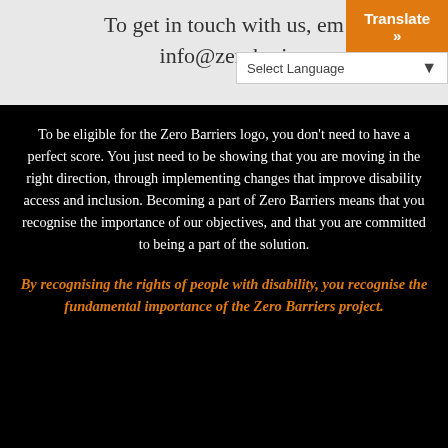To get in touch with us, em info@zerobar
[Figure (screenshot): Orange 'Translate »' button and 'Select Language' dropdown UI overlay]
To be eligible for the Zero Barriers logo, you don't need to have a perfect score. You just need to be showing that you are moving in the right direction, through implementing changes that improve disability access and inclusion. Becoming a part of Zero Barriers means that you recognise the importance of our objectives, and that you are committed to being a part of the solution.
By recognising the rights of people with disability, you recognise the fundamental importance of the Zero Barriers project.